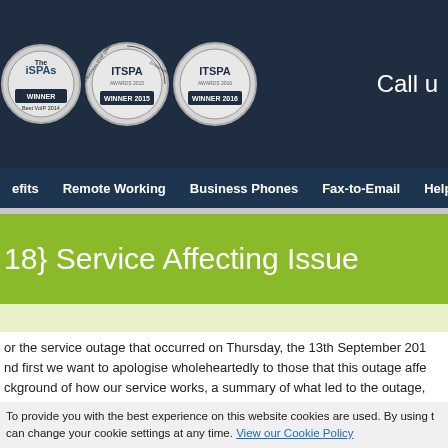[Figure (logo): Three award badges: The iSPAs WINNER Best VoIP 2014, ITSPA Best Business ITSP (Medium Enterprise) WINNER 2015, ITSPA Best Business ITSP (Small Enterprise) WINNER 2016. Header area with 'Call u' text (truncated).]
efits  Remote Working  Business Phones  Fax-to-Email  Help
{18} Service Affecting Issue
or the service outage that occurred on Thursday, the 13th September 201 nd first we want to apologise wholeheartedly to those that this outage affe ckground of how our service works, a summary of what led to the outage, ons occurring in the future and finally a full time-line of the events.
To provide you with the best experience on this website cookies are used. By using t can change your cookie settings at any time. View our Cookie Policy